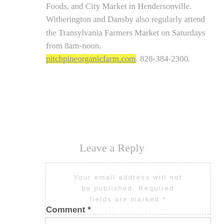Foods, and City Market in Hendersonville. Witherington and Dansby also regularly attend the Transylvania Farmers Market on Saturdays from 8am-noon. pitchpineorganicfarm.com. 828-384-2300.
Leave a Reply
Your email address will not be published. Required fields are marked *
Comment *